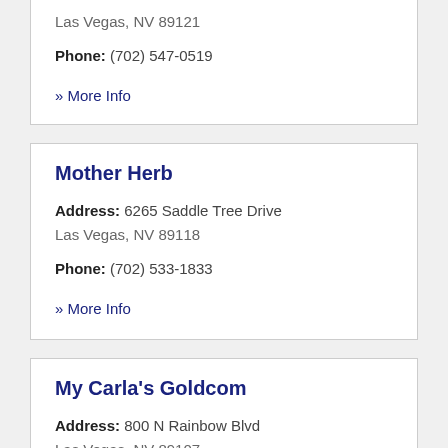Las Vegas, NV 89121
Phone: (702) 547-0519
» More Info
Mother Herb
Address: 6265 Saddle Tree Drive
Las Vegas, NV 89118
Phone: (702) 533-1833
» More Info
My Carla's Goldcom
Address: 800 N Rainbow Blvd
Las Vegas, NV 89107
Phone: (702) 948-5038